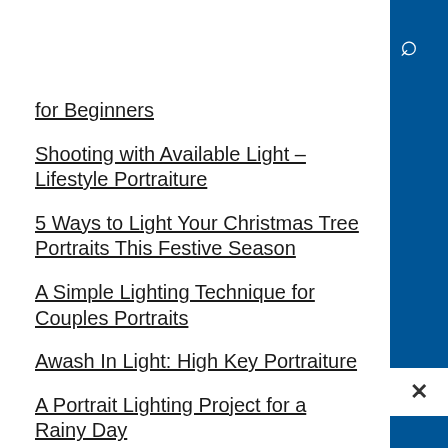dPS [logo] [search icon]
for Beginners
Shooting with Available Light – Lifestyle Portraiture
5 Ways to Light Your Christmas Tree Portraits This Festive Season
A Simple Lighting Technique for Couples Portraits
Awash In Light: High Key Portraiture
A Portrait Lighting Project for a Rainy Day
Simple Portrait Lighting Setup: Gorgeous